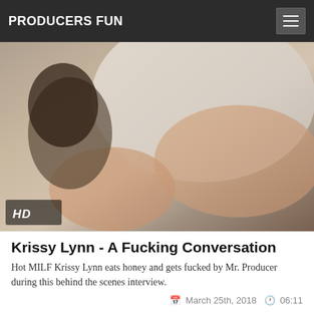PRODUCERS FUN
[Figure (photo): Video thumbnail showing a woman reclining on a white leather couch, with an HD badge in the lower left corner]
Krissy Lynn - A Fucking Conversation
Hot MILF Krissy Lynn eats honey and gets fucked by Mr. Producer during this behind the scenes interview.
March 25th, 2018  06:11